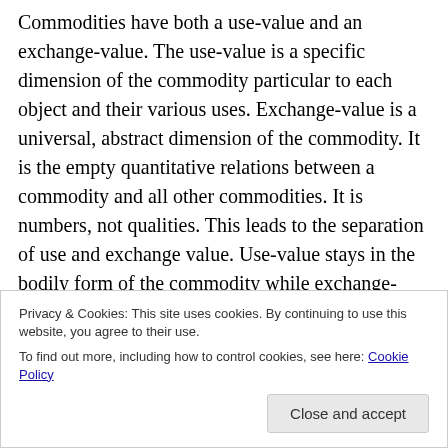Commodities have both a use-value and an exchange-value. The use-value is a specific dimension of the commodity particular to each object and their various uses. Exchange-value is a universal, abstract dimension of the commodity. It is the empty quantitative relations between a commodity and all other commodities. It is numbers, not qualities. This leads to the separation of use and exchange value. Use-value stays in the bodily form of the commodity while exchange-value separates itself from the commodity in the form of money. Money becomes the commodity that all other commodities measure
Privacy & Cookies: This site uses cookies. By continuing to use this website, you agree to their use.
To find out more, including how to control cookies, see here: Cookie Policy